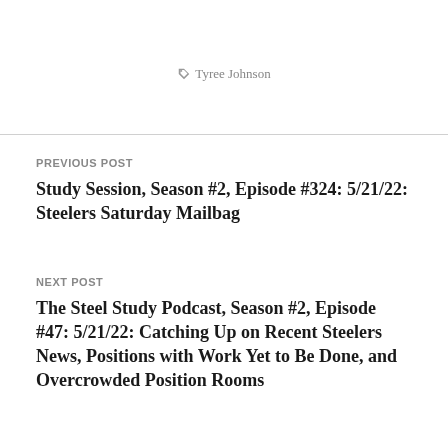Tyree Johnson
PREVIOUS POST
Study Session, Season #2, Episode #324: 5/21/22: Steelers Saturday Mailbag
NEXT POST
The Steel Study Podcast, Season #2, Episode #47: 5/21/22: Catching Up on Recent Steelers News, Positions with Work Yet to Be Done, and Overcrowded Position Rooms